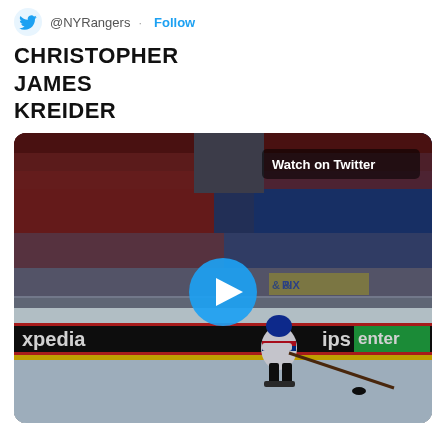@NYRangers · Follow
CHRISTOPHER JAMES KREIDER
[Figure (screenshot): Hockey game video thumbnail showing a New York Rangers player (Christopher Kreider) handling the puck on ice, with a packed arena crowd in the background. A blue play button is overlaid in the center. 'Watch on Twitter' label is in the top right corner. Rink boards show sponsors including 'xpedia', 'ps', and 'enter'.]